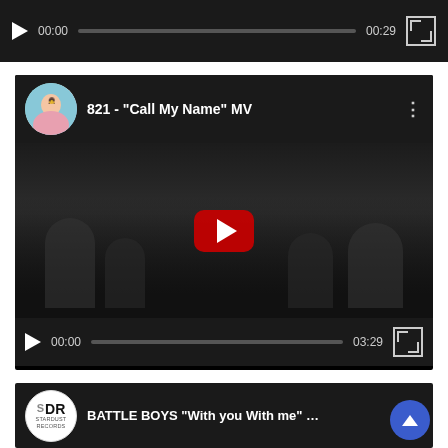[Figure (screenshot): Video player bar showing play button, 00:00 timestamp, progress bar, 00:29 duration, and fullscreen button on dark background]
[Figure (screenshot): YouTube embedded video player showing '821 - Call My Name MV' with channel avatar, video thumbnail of group of young women smiling, YouTube play button overlay, and player controls showing 00:00 / 03:29]
[Figure (screenshot): YouTube embedded video player showing 'BATTLE BOYS With you With me ...' with Stardust Records SDR logo avatar, partial video thumbnail with person visible, and scroll-to-top circular blue button]